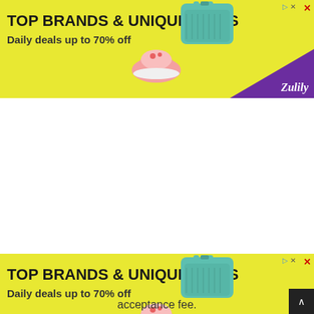[Figure (illustration): Advertisement banner: yellow background with bold text 'TOP BRANDS & UNIQUE FINDS', subtitle 'Daily deals up to 70% off', product images of pink shoes and teal handbag, purple triangle in bottom right with 'Zulily' branding, info/close icons top right]
[Figure (illustration): Second identical advertisement banner: yellow background with bold text 'TOP BRANDS & UNIQUE FINDS', subtitle 'Daily deals up to 70% off', product images of pink shoes and teal handbag, purple triangle in bottom right with 'Zulily' branding, info/close icons top right]
acceptance fee.